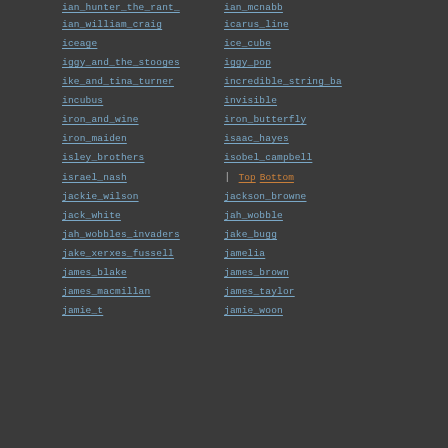ian_hunter_the_rant_
ian_mcnabb
ian_william_craig
icarus_line
iceage
ice_cube
iggy_and_the_stooges
iggy_pop
ike_and_tina_turner
incredible_string_ba
incubus
invisible
iron_and_wine
iron_butterfly
iron_maiden
isaac_hayes
isley_brothers
isobel_campbell
israel_nash
| Top Bottom
jackie_wilson
jackson_browne
jack_white
jah_wobble
jah_wobbles_invaders
jake_bugg
jake_xerxes_fussell
jamelia
james_blake
james_brown
james_macmillan
james_taylor
jamie_t
jamie_woon